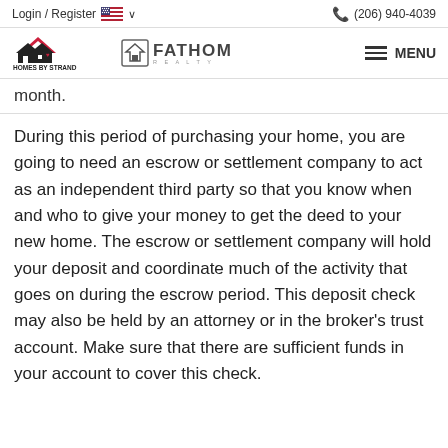Login / Register   🇺🇸 ∨        📞 (206) 940-4039
[Figure (logo): Homes by Strand and Fathom Realty logos with MENU button]
month.
During this period of purchasing your home, you are going to need an escrow or settlement company to act as an independent third party so that you know when and who to give your money to get the deed to your new home. The escrow or settlement company will hold your deposit and coordinate much of the activity that goes on during the escrow period. This deposit check may also be held by an attorney or in the broker's trust account. Make sure that there are sufficient funds in your account to cover this check.